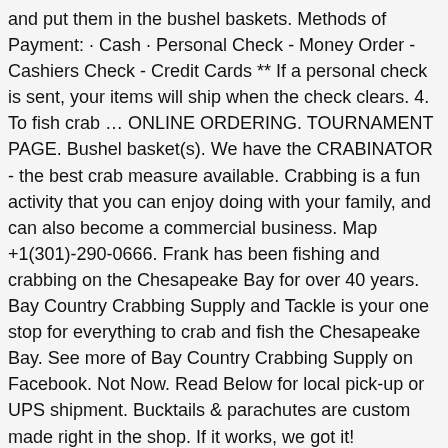and put them in the bushel baskets. Methods of Payment: · Cash · Personal Check - Money Order - Cashiers Check - Credit Cards ** If a personal check is sent, your items will ship when the check clears. 4. To fish crab … ONLINE ORDERING. TOURNAMENT PAGE. Bushel basket(s). We have the CRABINATOR - the best crab measure available. Crabbing is a fun activity that you can enjoy doing with your family, and can also become a commercial business. Map +1(301)-290-0666. Frank has been fishing and crabbing on the Chesapeake Bay for over 40 years. Bay Country Crabbing Supply and Tackle is your one stop for everything to crab and fish the Chesapeake Bay. See more of Bay Country Crabbing Supply on Facebook. Not Now. Read Below for local pick-up or UPS shipment. Bucktails & parachutes are custom made right in the shop. If it works, we got it! Recreational crabbers are required by state law to have a license if they plan on using supplies like trotlines, seines, collapsible traps, and eel pots. Chesapeake Bay blue crab population shows healthy spawning stock. CRAB BULLY.COM. 5:08. 214 mayo rd (2,204.14 mi) Edgewater, MD 21037. Recreational